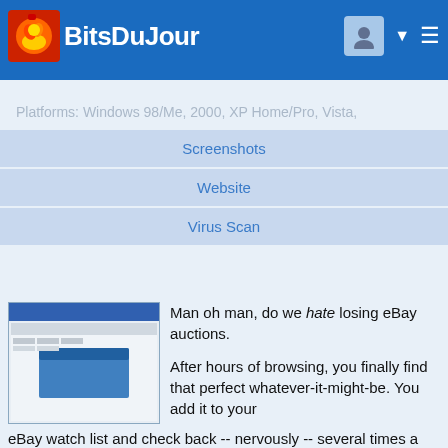BitsDuJour
Platforms: Windows 98/Me, 2000, XP Home/Pro, Vista,
Screenshots
Website
Virus Scan
[Figure (screenshot): Screenshot of software application showing a spreadsheet/list interface]
Man oh man, do we hate losing eBay auctions.

After hours of browsing, you finally find that perfect whatever-it-might-be. You add it to your eBay watch list and check back -- nervously -- several times a day until it finally someone outbids you.